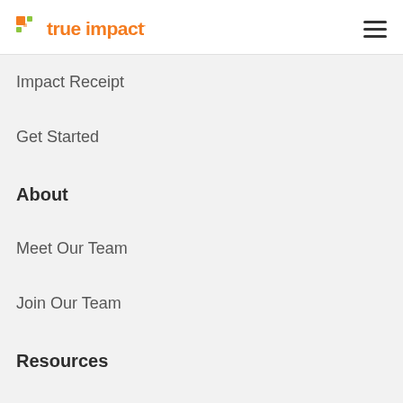[Figure (logo): True Impact logo with orange pixel/dot icon and orange bold text]
Impact Receipt
Get Started
About
Meet Our Team
Join Our Team
Resources
Blog